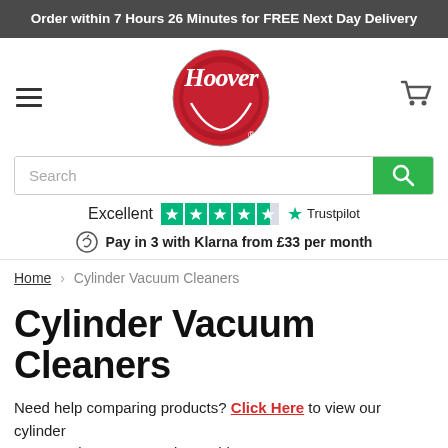Order within 7 Hours 26 Minutes for FREE Next Day Delivery
[Figure (logo): Hoover brand logo — circular red badge with white script Hoover text and registered trademark symbol]
Search
Excellent  ★★★★½  Trustpilot
Pay in 3 with Klarna from £33 per month
Home > Cylinder Vacuum Cleaners
Cylinder Vacuum Cleaners
Need help comparing products? Click Here to view our cylinder vacuum cleaner comparison table...